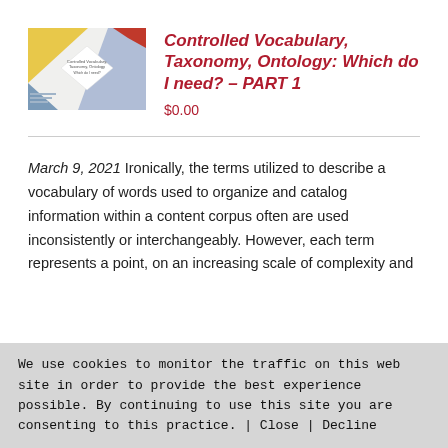[Figure (illustration): Book cover thumbnail with geometric diamond shape design in yellow, blue, and red tones with small text in center]
Controlled Vocabulary, Taxonomy, Ontology: Which do I need? – PART 1
$0.00
March 9, 2021 Ironically, the terms utilized to describe a vocabulary of words used to organize and catalog information within a content corpus often are used inconsistently or interchangeably. However, each term represents a point, on an increasing scale of complexity and
We use cookies to monitor the traffic on this web site in order to provide the best experience possible. By continuing to use this site you are consenting to this practice. | Close | Decline